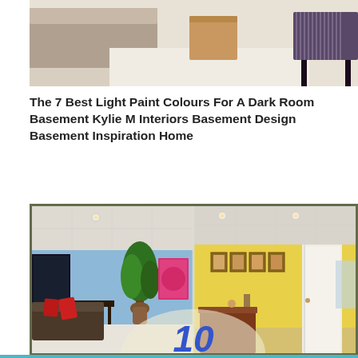[Figure (photo): Interior room photo showing a beige/cream colored sofa or upholstered furniture on light carpet, with a wooden side table and a striped purple/black bench or ottoman in the corner]
The 7 Best Light Paint Colours For A Dark Room Basement Kylie M Interiors Basement Design Basement Inspiration Home
[Figure (photo): Split comparison image of two basement rooms: left side shows a blue-walled basement with TV, plant, red-pillowed sofa and pink artwork; right side shows a yellow-walled basement with framed artwork, white door, and brown counter. Number '10' visible at bottom center.]